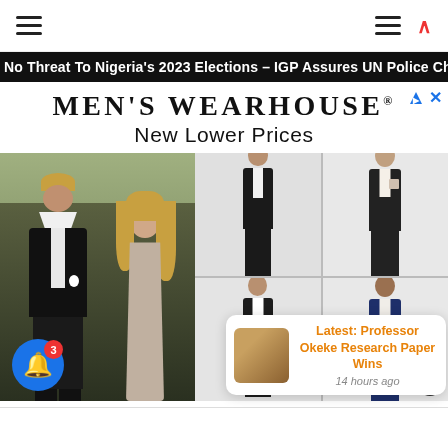Navigation bar with hamburger menu icons
No Threat To Nigeria's 2023 Elections – IGP Assures UN Police Chief
[Figure (illustration): Men's Wearhouse advertisement banner with brand name, 'New Lower Prices' tagline, wedding couple photo on left, and grid of suit models on right]
Latest: Professor Okeke Research Paper Wins
14 hours ago